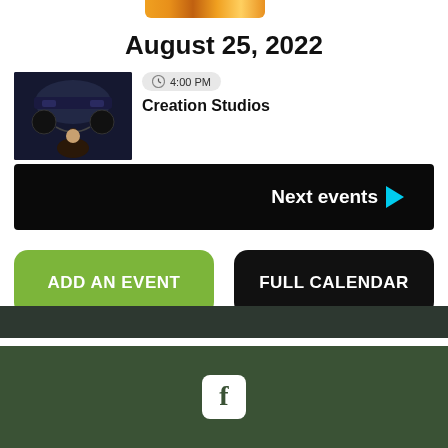[Figure (photo): Partial colored strip at top of page, appearing to be bottom of a logo or image]
August 25, 2022
[Figure (photo): Thumbnail photo of a DJ at mixing equipment, dark background]
4:00 PM
Creation Studios
Next events ▶
ADD AN EVENT
FULL CALENDAR
[Figure (logo): Facebook logo icon (white F on rounded square) on dark green footer background]